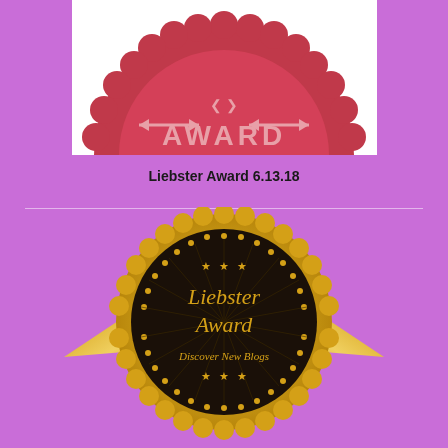[Figure (illustration): Top portion of a pink/crimson Liebster Award badge with scalloped edges and arrow decorations, shown on white background]
Liebster Award 6.13.18
[Figure (illustration): Liebster Award badge: gold scalloped circular seal with black center, radiating sunburst pattern, three stars at top, italic gold text reading 'Liebster Award', cursive text 'Discover New Blogs', three stars at bottom, with gold ribbon banner extending from sides]